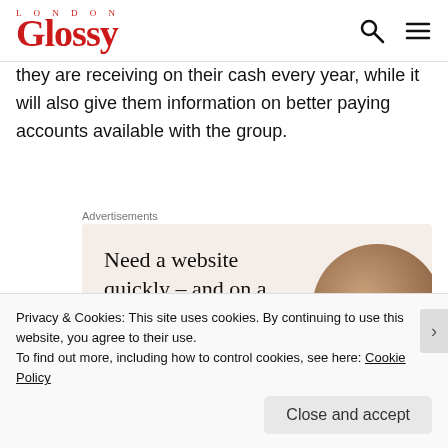Glossy London
they are receiving on their cash every year, while it will also give them information on better paying accounts available with the group.
Advertisements
[Figure (infographic): Advertisement banner with beige/pink background. Headline: 'Need a website quickly – and on a budget?' Subtext: 'Let us build it for you'. A circular image of a croissant is on the right side.]
Privacy & Cookies: This site uses cookies. By continuing to use this website, you agree to their use.
To find out more, including how to control cookies, see here: Cookie Policy